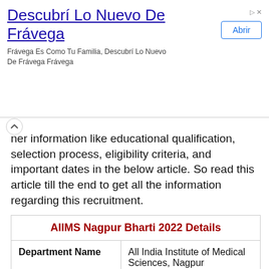[Figure (screenshot): Advertisement banner: 'Descubrí Lo Nuevo De Frávega' with subtitle 'Frávega Es Como Tu Familia, Descubrí Lo Nuevo De Frávega Frávega' and an 'Abrir' button]
ner information like educational qualification, selection process, eligibility criteria, and important dates in the below article. So read this article till the end to get all the information regarding this recruitment.
| AIIMS Nagpur Bharti 2022 Details |
| Department Name | All India Institute of Medical Sciences, Nagpur |
| Recruitment Name | AIIMS Recruitment |
|  | Senior Resident, |